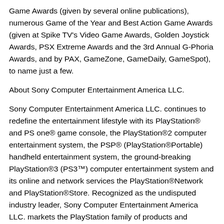Game Awards (given by several online publications), numerous Game of the Year and Best Action Game Awards (given at Spike TV's Video Game Awards, Golden Joystick Awards, PSX Extreme Awards and the 3rd Annual G-Phoria Awards, and by PAX, GameZone, GameDaily, GameSpot), to name just a few.
About Sony Computer Entertainment America LLC.
Sony Computer Entertainment America LLC. continues to redefine the entertainment lifestyle with its PlayStation® and PS one® game console, the PlayStation®2 computer entertainment system, the PSP® (PlayStation®Portable) handheld entertainment system, the ground-breaking PlayStation®3 (PS3™) computer entertainment system and its online and network services the PlayStation®Network and PlayStation®Store. Recognized as the undisputed industry leader, Sony Computer Entertainment America LLC. markets the PlayStation family of products and develops, publishes, markets and distributes software for the PS one, PlayStation 2, PSP and PS3 systems for the North American market. Based in Foster City, Calif., Sony Computer Entertainment